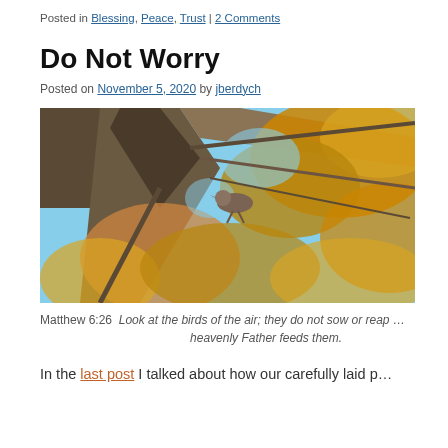Posted in Blessing, Peace, Trust | 2 Comments
Do Not Worry
Posted on November 5, 2020 by jberdych
[Figure (photo): A bird perched on a large tree branch among autumn-colored orange and yellow foliage with blue sky visible through the branches.]
Matthew 6:26  Look at the birds of the air; they do not sow or reap … heavenly Father feeds them.
In the last post I talked about how our carefully laid p…